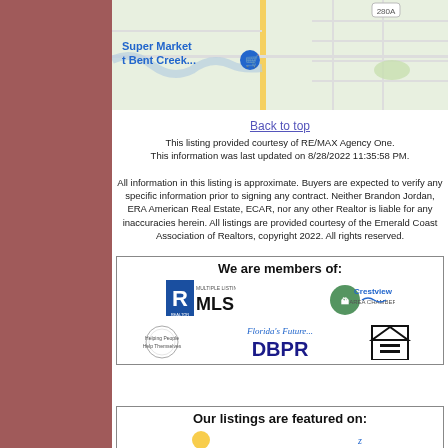[Figure (map): Google Maps view showing Super Market at Bent Creek location with street map]
Back to top
This listing provided courtesy of RE/MAX Agency One. This information was last updated on 8/28/2022 11:35:58 PM.
All information in this listing is approximate. Buyers are expected to verify any specific information prior to signing any contract. Neither Brandon Jordan, ERA American Real Estate, ECAR, nor any other Realtor is liable for any inaccuracies herein. All listings are provided courtesy of the Emerald Coast Association of Realtors, copyright 2022. All rights reserved.
[Figure (infographic): We are members of: REALTOR MLS, Crestview Area Chamber, DBPR Florida's Future, Equal Housing Opportunity logos]
[Figure (infographic): Our listings are featured on: logos]